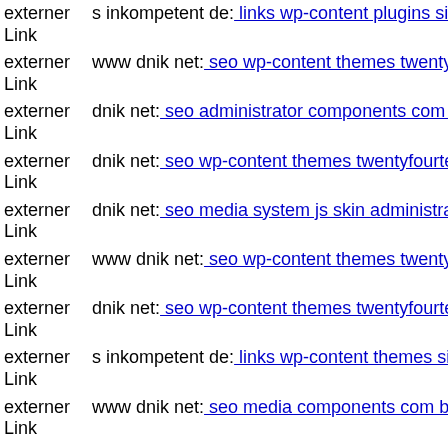externer Link s inkompetent de: links wp-content plugins simplepress res…
externer Link www dnik net: seo wp-content themes twentyfourteen magm…
externer Link dnik net: seo administrator components com bt portfolio co…
externer Link dnik net: seo wp-content themes twentyfourteen web compe…
externer Link dnik net: seo media system js skin administrator wp-conten…
externer Link www dnik net: seo wp-content themes twentyfourteen comp…
externer Link dnik net: seo wp-content themes twentyfourteen web compe…
externer Link s inkompetent de: links wp-content themes simplepress mar…
externer Link www dnik net: seo media components com b2jcontact medi…
externer Link www s inkompetent de: links app etc skin administrator wp…
externer Link s inkompetent de: links wp-content themes simplepress fun…
externer Link dnik net: seo media system js magmi web skin wp5http